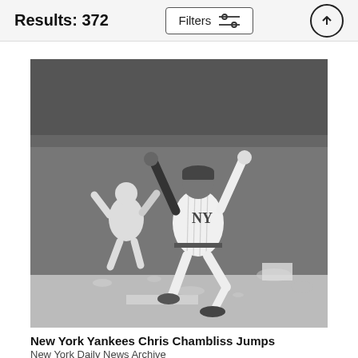Results: 372
[Figure (photo): Black and white photograph of New York Yankees player Chris Chambliss jumping with both arms raised in celebration on the baseball field. Another player visible in the background also celebrating.]
New York Yankees Chris Chambliss Jumps
New York Daily News Archive